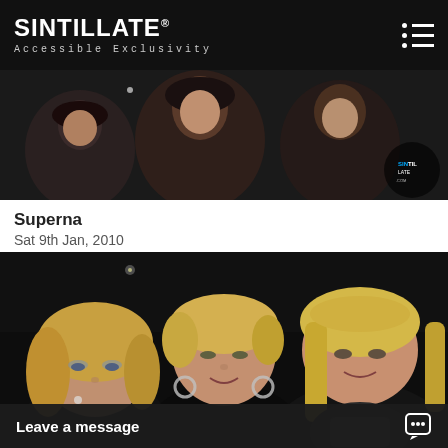SINTILLATE® Accessible Exclusivity
[Figure (photo): Nightclub event photo showing people smiling, with Sintillate logo watermark in bottom right corner]
Superna
Sat 9th Jan, 2010
[Figure (photo): Photo of three blonde women at a nightclub event, smiling, dark background]
Leave a message